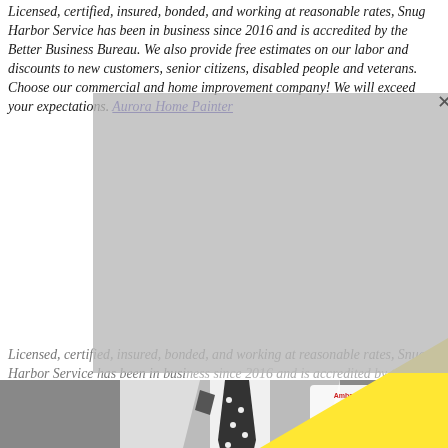Licensed, certified, insured, bonded, and working at reasonable rates, Snug Harbor Service has been in business since 2016 and is accredited by the Better Business Bureau. We also provide free estimates on our labor and discounts to new customers, senior citizens, disabled people and veterans. Choose our commercial and home improvement company! We will exceed your expectations. Aurora Home Painter
[Figure (photo): Gray semi-transparent popup overlay with X close button, overlapping repeated italic text block. Behind and below: black-and-white photo of man in suit with polka-dot tie and pocket square, with Ambassador Painting logo badge. Large yellow triangle overlays bottom-right of the photo.]
Licensed, certified, insured, bonded, and working at reasonable rates, Snug Harbor Service has been in business since 2016 and is accredited by the Better Business Bureau. We also provide free estimates on our labor and discounts to new customers, senior citizens, disabled people and veterans. Choose our commercial and home improvement company! We will exceed your expectations. Aurora Home Painter
The Snug Harbor Service painters we have carefully chosen are experienced professionals whom are both dependable and trustworthy, with the skills and expertise necessary to meet all your requirements, whether interior or exterior. Our professionals are also experts in custom painting, faux finishes, staining, drywall, and repair services. Home Painters Aurora CO